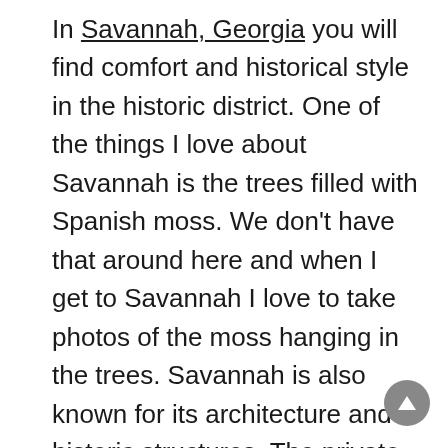In Savannah, Georgia you will find comfort and historical style in the historic district. One of the things I love about Savannah is the trees filled with Spanish moss. We don't have that around here and when I get to Savannah I love to take photos of the moss hanging in the trees. Savannah is also known for its architecture and historic structures. The private homes and public buildings are absolutely gorgeous. If you love lighthouses be sure to visit the lighthouses near Savannah. The temperature averages 60 degrees in winter and I for one could spend days viewing all of the buildings and parks. From December 1-3, 2014 you can view the beautiful art shows featuring Barbara Davis. For the nature lover be sure to walk the 2 mile